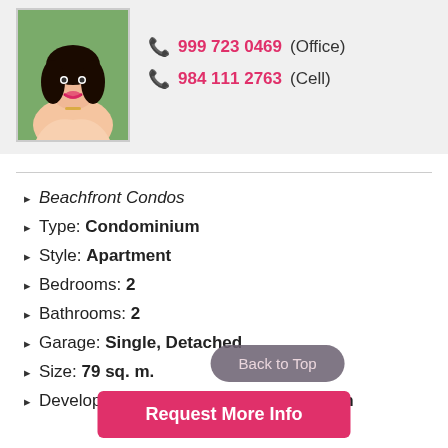[Figure (photo): Agent headshot photo of a woman with dark hair, smiling, on a green background]
999 723 0469 (Office)
984 111 2763 (Cell)
Beachfront Condos
Type: Condominium
Style: Apartment
Bedrooms: 2
Bathrooms: 2
Garage: Single, Detached
Size: 79 sq. m.
Development Level: Under Construction
Back to Top
Request More Info